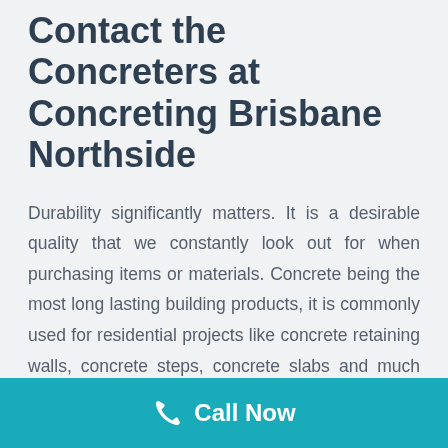Contact the Concreters at Concreting Brisbane Northside
Durability significantly matters. It is a desirable quality that we constantly look out for when purchasing items or materials. Concrete being the most long lasting building products, it is commonly used for residential projects like concrete retaining walls, concrete steps, concrete slabs and much more. Do you have a residential concreting task and need trustworthy and accredited Concreters Karalee for unequaled quality concreting services? Make
[Figure (other): Teal/cyan call-to-action bar at the bottom with a phone handset icon and 'Call Now' text in white]